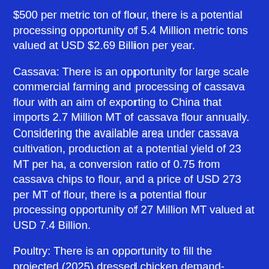$500 per metric ton of flour, there is a potential processing opportunity of 5.4 Million metric tons valued at USD $2.69 Billion per year.
Cassava: There is an opportunity for large scale commercial farming and processing of cassava flour with an aim of exporting to China that imports 2.7 Million MT of cassava flour annually. Considering the available area under cassava cultivation, production at a potential yield of 23 MT per ha, a conversion ratio of 0.75 from cassava chips to flour, and a price of USD 273 per MT of flour, there is a potential flour processing opportunity of 27 Million MT valued at USD 7.4 Billion.
Poultry: There is an opportunity to fill the projected (2025) dressed chicken demand-